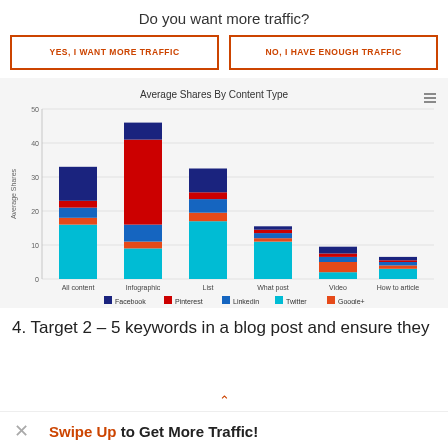Do you want more traffic?
YES, I WANT MORE TRAFFIC
NO, I HAVE ENOUGH TRAFFIC
[Figure (stacked-bar-chart): Average Shares By Content Type]
4. Target 2 – 5 keywords in a blog post and ensure they
Swipe Up to Get More Traffic!